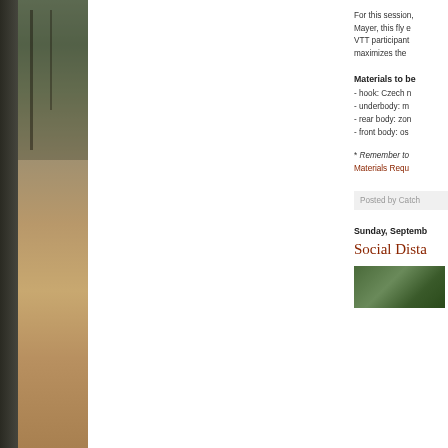[Figure (photo): Outdoor nature/forest scene photo on the left edge of the page, showing trees and earth tones]
For this session, Mayer, this fly e VTT participant maximizes the
Materials to be
- hook: Czech n
- underbody: m
- rear body: zon
- front body: os
* Remember to Materials Requ
Posted by Catch
Sunday, Septemb
Social Dista
[Figure (photo): Small outdoor/nature photo at bottom right]